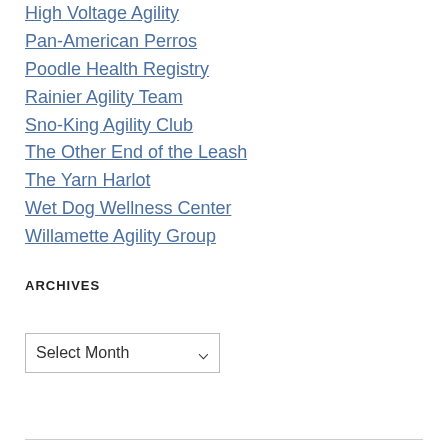High Voltage Agility
Pan-American Perros
Poodle Health Registry
Rainier Agility Team
Sno-King Agility Club
The Other End of the Leash
The Yarn Harlot
Wet Dog Wellness Center
Willamette Agility Group
ARCHIVES
Select Month